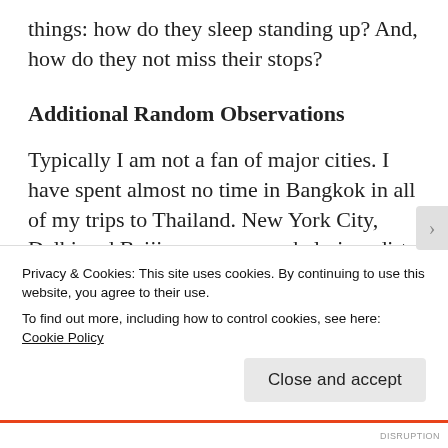things: how do they sleep standing up? And, how do they not miss their stops?
Additional Random Observations
Typically I am not a fan of major cities. I have spent almost no time in Bangkok in all of my trips to Thailand. New York City, Delhi and Beijing were overwhelming, dirty and polluted. Tokyo is an exception.
Tokyo is very clean and has pretty much no perceivable pollution. Most districts have a
Privacy & Cookies: This site uses cookies. By continuing to use this website, you agree to their use.
To find out more, including how to control cookies, see here: Cookie Policy
Close and accept